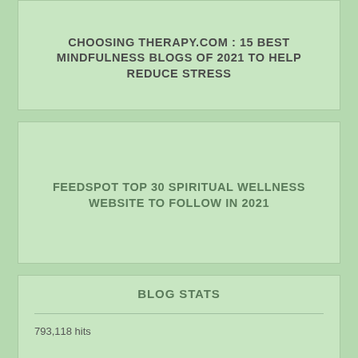CHOOSING THERAPY.COM : 15 BEST MINDFULNESS BLOGS OF 2021 TO HELP REDUCE STRESS
FEEDSPOT TOP 30 SPIRITUAL WELLNESS WEBSITE TO FOLLOW IN 2021
BLOG STATS
793,118 hits